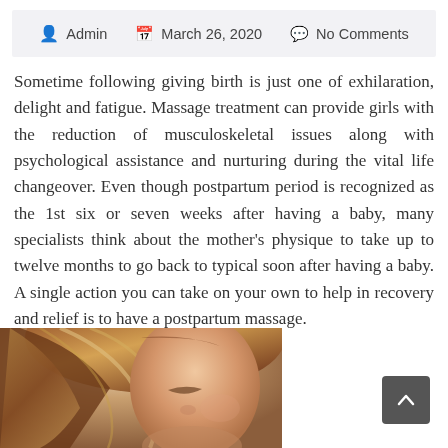Admin   March 26, 2020   No Comments
Sometime following giving birth is just one of exhilaration, delight and fatigue. Massage treatment can provide girls with the reduction of musculoskeletal issues along with psychological assistance and nurturing during the vital life changeover. Even though postpartum period is recognized as the 1st six or seven weeks after having a baby, many specialists think about the mother's physique to take up to twelve months to go back to typical soon after having a baby. A single action you can take on your own to help in recovery and relief is to have a postpartum massage.
[Figure (photo): Close-up photo of a woman with auburn/brown highlighted hair, eyes closed, head slightly tilted downward — visible from top of head to chin level, cropped at left side of page bottom]